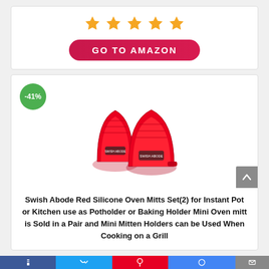[Figure (other): Five orange/gold star rating icons]
GO TO AMAZON
[Figure (photo): Two red silicone mini oven mitts, with a green -41% discount badge in the upper left corner]
Swish Abode Red Silicone Oven Mitts Set(2) for Instant Pot or Kitchen use as Potholder or Baking Holder Mini Oven mitt is Sold in a Pair and Mini Mitten Holders can be Used When Cooking on a Grill